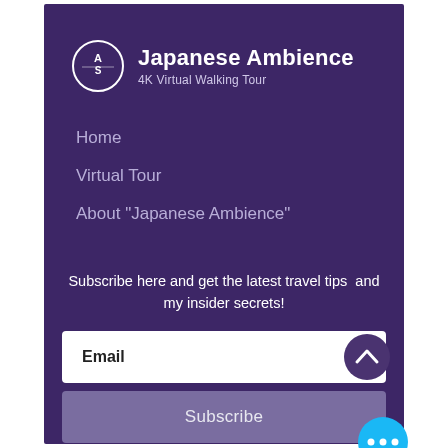[Figure (logo): Japanese Ambience logo: circular badge with stylized 'AS' monogram and text 'Japanese Ambience / 4K Virtual Walking Tour']
Home
Virtual Tour
About "Japanese Ambience"
Subscribe here and get the latest travel tips  and my insider secrets!
Email
Subscribe